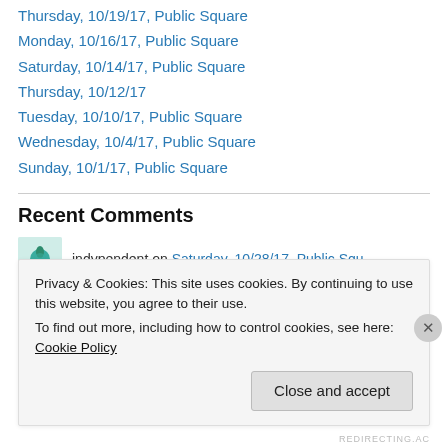Thursday, 10/19/17, Public Square
Monday, 10/16/17, Public Square
Saturday, 10/14/17, Public Square
Thursday, 10/12/17
Tuesday, 10/10/17, Public Square
Wednesday, 10/4/17, Public Square
Sunday, 10/1/17, Public Square
Recent Comments
indypendent on Saturday, 10/28/17, Public Squ...
Privacy & Cookies: This site uses cookies. By continuing to use this website, you agree to their use.
To find out more, including how to control cookies, see here: Cookie Policy
Close and accept